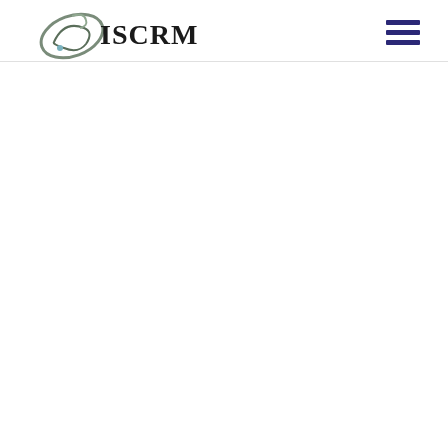[Figure (logo): ISCRM logo with stylized infinity/leaf symbol in gray-green and text ISCRM in black serif font]
[Figure (other): Hamburger menu icon with three dark navy/purple horizontal bars]